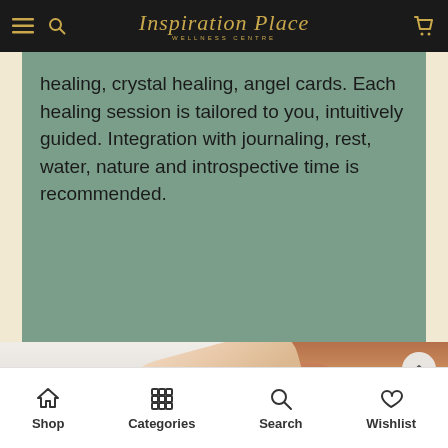Inspiration Place WELLNESS CENTRE
healing, crystal healing, angel cards. Each healing session is tailored to you, intuitively guided. Integration with journaling, rest, water, nature and introspective time is recommended.
[Figure (photo): Close-up photo of hands performing a healing/massage treatment on a person's shoulder/upper back area, warm skin tones]
Shop | Categories | Search | Wishlist